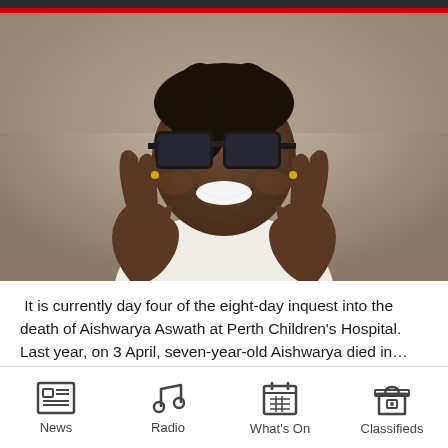[Figure (photo): A young girl wearing large black sunglasses, smiling widely and making peace/V signs with both hands toward the camera. She is wearing a white sleeveless top. Background appears to be an outdoor setting.]
It is currently day four of the eight-day inquest into the death of Aishwarya Aswath at Perth Children's Hospital. Last year, on 3 April, seven-year-old Aishwarya died in…
News  Radio  What's On  Classifieds